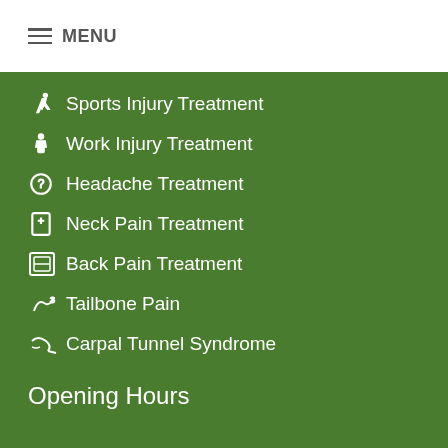MENU
Sports Injury Treatment
Work Injury Treatment
Headache Treatment
Neck Pain Treatment
Back Pain Treatment
Tailbone Pain
Carpal Tunnel Syndrome
Opening Hours